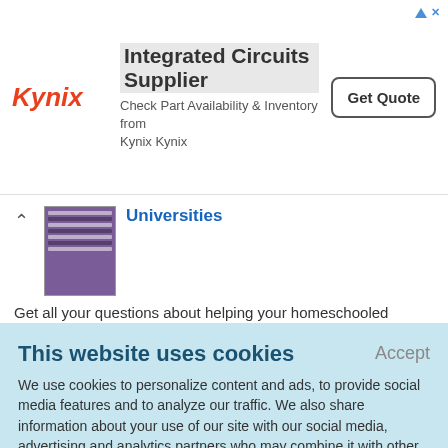[Figure (infographic): Kynix Integrated Circuits Supplier advertisement banner with Kynix logo, text about checking part availability and inventory, and a Get Quote button]
Universities
Get all your questions about helping your homeschooled student apply and get accepted to college answered with this resource. It discusses transcripts, diplomas, education choices, online colleges, and more. If
This website uses cookies
Accept
We use cookies to personalize content and ads, to provide social media features and to analyze our traffic. We also share information about your use of our site with our social media, advertising and analytics partners who may combine it with other information that you've provided to them or that they've collected from your use of their services.
Learn More.
out hilarious word game that helps build